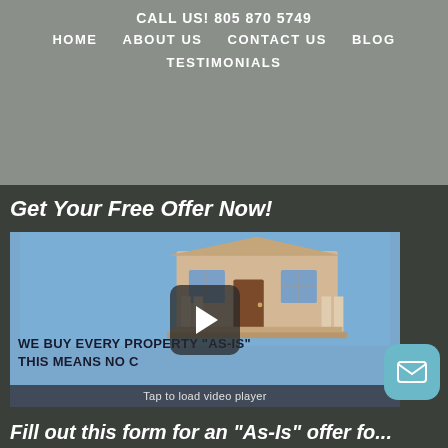CALL US! 805 870 5749
HOME   ABOUT US   CONTACT US   BLOG
TESTIMONIALS
Get Your Free Offer Now!
[Figure (screenshot): Video thumbnail showing a cartoon house on blue background with text 'WE BUY EVERY PROPERTY "AS-IS" THIS MEANS NO C...' and a play button overlay. Bottom bar reads 'Tap to load video player'.]
Tap to load video player
Fill out this form for an “As-Is” offer fo...